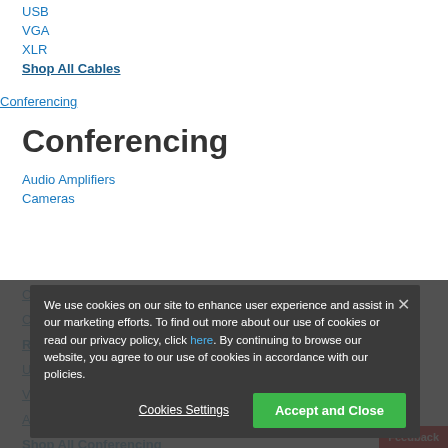USB
VGA
XLR
Shop All Cables
Conferencing
Conferencing
Audio Amplifiers
Cameras
Cellular Boosters
Control
Room Systems & DSPs
USB Extenders & Hubs
Video
Accessories
Shop All Conferencing
Brands
We use cookies on our site to enhance user experience and assist in our marketing efforts. To find out more about our use of cookies or read our privacy policy, click here. By continuing to browse our website, you agree to our use of cookies in accordance with our policies.
Cookies Settings
Accept and Close